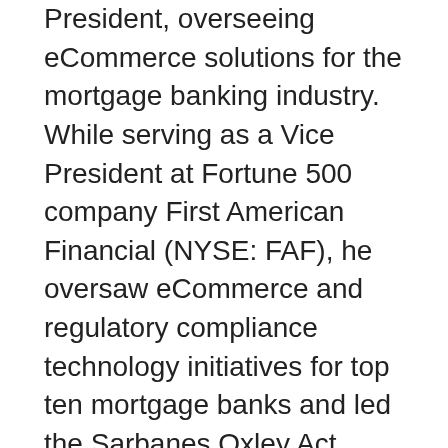President, overseeing eCommerce solutions for the mortgage banking industry. While serving as a Vice President at Fortune 500 company First American Financial (NYSE: FAF), he oversaw eCommerce and regulatory compliance technology initiatives for top ten mortgage banks and led the Sarbanes Oxley Act Section 302 internal controls IT audit for the company, supporting Section 404 of the Sarbanes Oxley Act. Mr. Arrigo earned his Bachelor of Science in Business Administration from the University of Southern California. Before that, he studied computer science, statistics, and economics at the University of California, Irvine. His post-graduate studies include biomedical ethics at Harvard Medical School, biomedical informatics at Stanford Medical School, blockchain and crypto economics at the Massachusetts Institute of Technology, and training as a